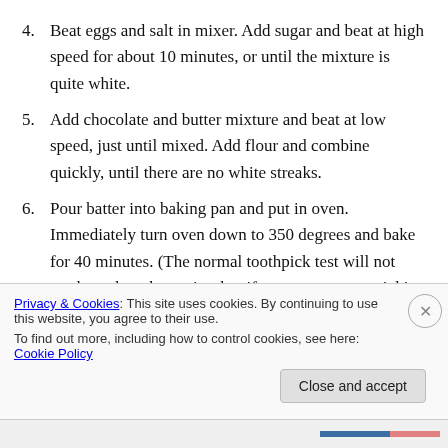4. Beat eggs and salt in mixer. Add sugar and beat at high speed for about 10 minutes, or until the mixture is quite white.
5. Add chocolate and butter mixture and beat at low speed, just until mixed. Add flour and combine quickly, until there are no white streaks.
6. Pour batter into baking pan and put in oven. Immediately turn oven down to 350 degrees and bake for 40 minutes. (The normal toothpick test will not work on these brownies, but if you want to try pricking them with a toothpick, it should come out not quite clean.)
Privacy & Cookies: This site uses cookies. By continuing to use this website, you agree to their use. To find out more, including how to control cookies, see here: Cookie Policy
Close and accept